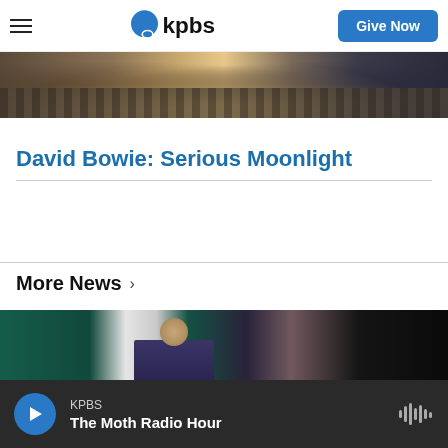KPBS — Give Now
[Figure (photo): Partial concert crowd scene, cropped at top]
David Bowie: Serious Moonlight
More News ›
[Figure (photo): Mexican president at press conference with Mexican flag visible]
KPBS — The Moth Radio Hour